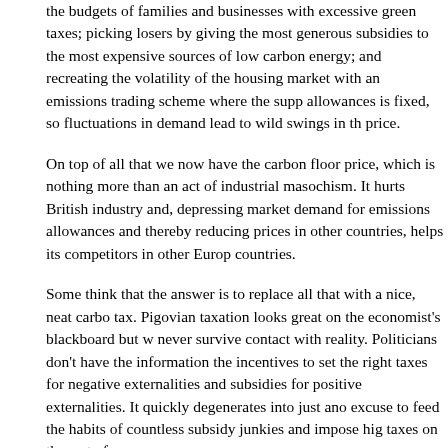the budgets of families and businesses with excessive green taxes; picking losers by giving the most generous subsidies to the most expensive sources of low carbon energy; and recreating the volatility of the housing market with an emissions trading scheme where the supply of allowances is fixed, so fluctuations in demand lead to wild swings in the price.
On top of all that we now have the carbon floor price, which is nothing more than an act of industrial masochism. It hurts British industry and, depressing market demand for emissions allowances and thereby reducing prices in other countries, helps its competitors in other European countries.
Some think that the answer is to replace all that with a nice, neat carbon tax. Pigovian taxation looks great on the economist's blackboard but will never survive contact with reality. Politicians don't have the information or the incentives to set the right taxes for negative externalities and subsidies for positive externalities. It quickly degenerates into just another excuse to feed the habits of countless subsidy junkies and impose higher taxes on the rest of us.
British climate policy has, for far too long, been based on trying to answer the question "if a global government set climate policy, what would it tell us to do?"